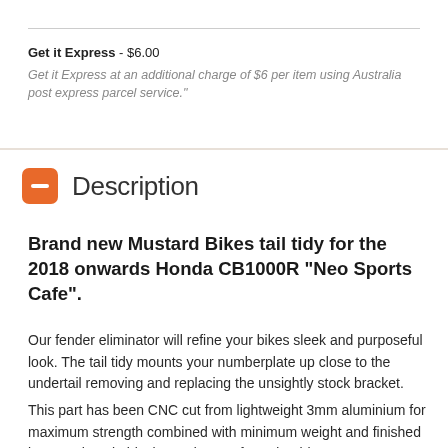Get it Express - $6.00
Get it Express at an additional charge of $6 per item using Australia post express parcel service."
Description
Brand new Mustard Bikes tail tidy for the 2018 onwards Honda CB1000R "Neo Sports Cafe".
Our fender eliminator will refine your bikes sleek and purposeful look. The tail tidy mounts your numberplate up close to the undertail removing and replacing the unsightly stock bracket.
This part has been CNC cut from lightweight 3mm aluminium for maximum strength combined with minimum weight and finished in a tough satin black powdercoat for a durable